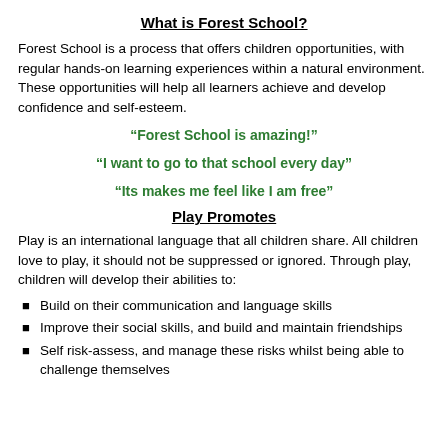What is Forest School?
Forest School is a process that offers children opportunities, with regular hands-on learning experiences within a natural environment. These opportunities will help all learners achieve and develop confidence and self-esteem.
“Forest School is amazing!”
“I want to go to that school every day”
“Its makes me feel like I am free”
Play Promotes
Play is an international language that all children share. All children love to play, it should not be suppressed or ignored. Through play, children will develop their abilities to:
Build on their communication and language skills
Improve their social skills, and build and maintain friendships
Self risk-assess, and manage these risks whilst being able to challenge themselves